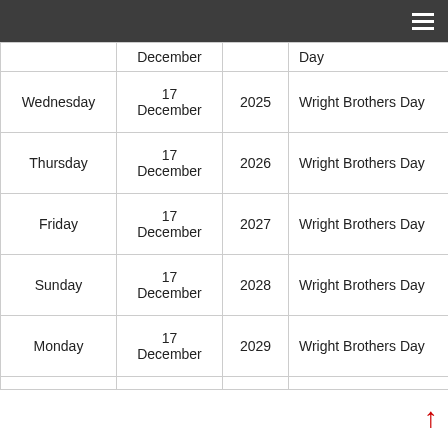| Day | Date | Year | Holiday |
| --- | --- | --- | --- |
|  | December |  | Day |
| Wednesday | 17 December | 2025 | Wright Brothers Day |
| Thursday | 17 December | 2026 | Wright Brothers Day |
| Friday | 17 December | 2027 | Wright Brothers Day |
| Sunday | 17 December | 2028 | Wright Brothers Day |
| Monday | 17 December | 2029 | Wright Brothers Day |